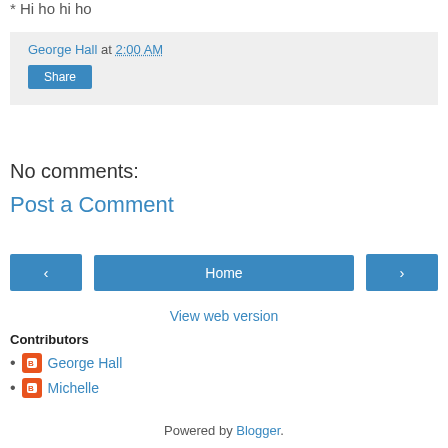* Hi ho hi ho
George Hall at 2:00 AM
Share
No comments:
Post a Comment
< Home >
View web version
Contributors
George Hall
Michelle
Powered by Blogger.